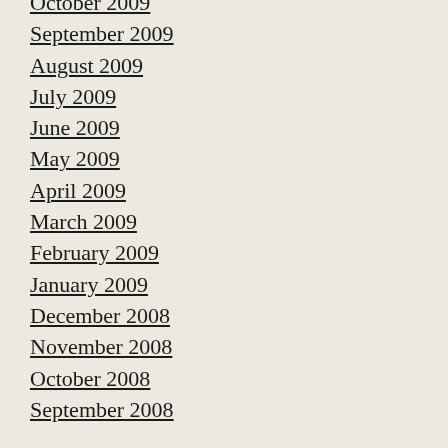October 2009
September 2009
August 2009
July 2009
June 2009
May 2009
April 2009
March 2009
February 2009
January 2009
December 2008
November 2008
October 2008
September 2008